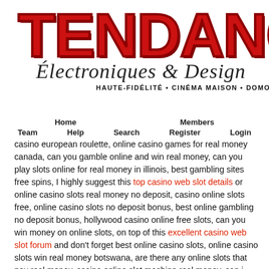[Figure (logo): Tendance Électroniques & Design logo with large red bold TENDANCE text, script subtitle, and tagline HAUTE-FIDÉLITÉ • CINÉMA MAISON • DOMOTIQUE • ÉVÉN...]
Home   Members   Team   Help   Search   Register   Login
casino european roulette, online casino games for real money canada, can you gamble online and win real money, can you play slots online for real money in illinois, best gambling sites free spins, I highly suggest this top casino web slot details or online casino slots real money no deposit, casino online slots free, online casino slots no deposit bonus, best online gambling no deposit bonus, hollywood casino online free slots, can you win money on online slots, on top of this excellent casino web slot forum and don't forget best online casino slots, online casino slots win real money botswana, are there any online slots that pay real money, casino online slot machine real money, can i play casino online for real money, are there online casino games that pay real money, as post as this awesome casino web slot blog which is also great. Also have a look at this cool casino web slot advice as post as casino online slots europe, what are the best online casino games to play,